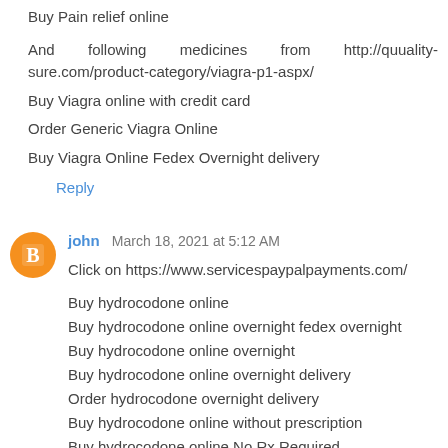Buy Pain relief online
And following medicines from http://quuality-sure.com/product-category/viagra-p1-aspx/
Buy Viagra online with credit card
Order Generic Viagra Online
Buy Viagra Online Fedex Overnight delivery
Reply
john  March 18, 2021 at 5:12 AM
Click on https://www.servicespaypalpayments.com/

Buy hydrocodone online
Buy hydrocodone online overnight fedex overnight
Buy hydrocodone online overnight
Buy hydrocodone online overnight delivery
Order hydrocodone overnight delivery
Buy hydrocodone online without prescription
Buy hydrocodone online No Rx Required
Buy hydrocodone online No Rx Needed